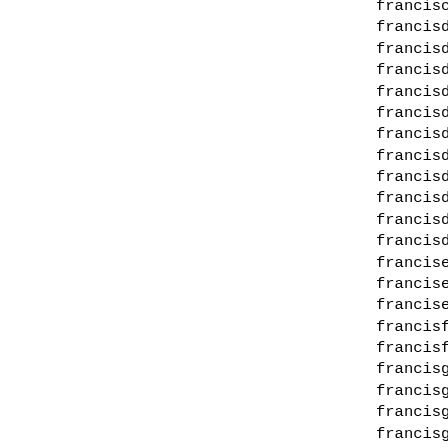franciscoulibaly2@ma...
francisdanbaba@rediff...
francisdanbaba@yahoo....
francisdesmond205@gma...
francisdibiamaka@yaho...
francisdube003@gmail....
francisdube03@gmail.c...
francisdube3@gmail.co...
francisdube61@gmail.c...
francisdube@gmail.com...
francisduke111@gmail....
francisduru@diplomats...
francisebul@mynet.com...
franciselijah01@gmail...
francisemark83@gmail....
francisfernandez_m@ya...
francisfischer@consul...
francisgani1@gmail.co...
francisgiilbertatlawf...
francisgilbert0011@ho...
francisgilbert_atlaw0...
francisgilbertatlaw@g...
francisgilbertatlaw@h...
francisgilbertatlawfi...
francisgilbertlawcham...
francisgilbertlawcham...
francisgilbertlawcham...
francisgilbertoffice@...
francisgilbertoffice@...
francisgilbertt@outlo...
francisgl780...il...